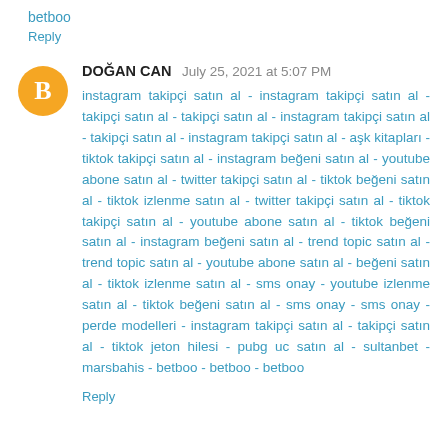betboo
Reply
DOĞAN CAN July 25, 2021 at 5:07 PM
instagram takipçi satın al - instagram takipçi satın al - takipçi satın al - takipçi satın al - instagram takipçi satın al - takipçi satın al - instagram takipçi satın al - aşk kitapları - tiktok takipçi satın al - instagram beğeni satın al - youtube abone satın al - twitter takipçi satın al - tiktok beğeni satın al - tiktok izlenme satın al - twitter takipçi satın al - tiktok takipçi satın al - youtube abone satın al - tiktok beğeni satın al - instagram beğeni satın al - trend topic satın al - trend topic satın al - youtube abone satın al - beğeni satın al - tiktok izlenme satın al - sms onay - youtube izlenme satın al - tiktok beğeni satın al - sms onay - sms onay - perde modelleri - instagram takipçi satın al - takipçi satın al - tiktok jeton hilesi - pubg uc satın al - sultanbet - marsbahis - betboo - betboo - betboo
Reply